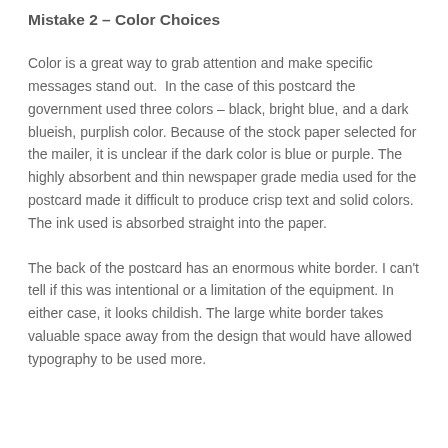Mistake 2 – Color Choices
Color is a great way to grab attention and make specific messages stand out.  In the case of this postcard the government used three colors – black, bright blue, and a dark blueish, purplish color. Because of the stock paper selected for the mailer, it is unclear if the dark color is blue or purple. The highly absorbent and thin newspaper grade media used for the postcard made it difficult to produce crisp text and solid colors. The ink used is absorbed straight into the paper.
The back of the postcard has an enormous white border. I can't tell if this was intentional or a limitation of the equipment. In either case, it looks childish. The large white border takes valuable space away from the design that would have allowed typography to be used more.